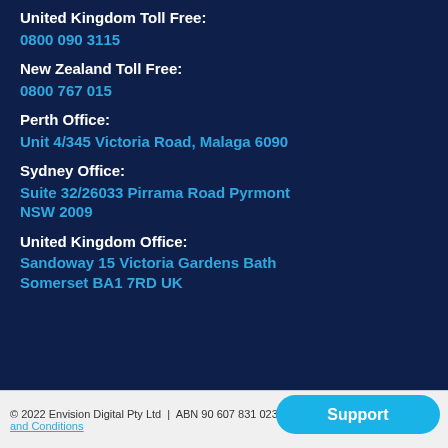United Kingdom Toll Free:
0800 090 3115
New Zealand Toll Free:
0800 767 015
Perth Office:
Unit 4/345 Victoria Road, Malaga 6090
Sydney Office:
Suite 32/26033 Pirrama Road Pyrmont NSW 2009
United Kingdom Office:
Sandoway 15 Victoria Gardens Bath Somerset BA1 7RD UK
© 2022 Envision Digital Pty Ltd  |  ABN 90 607 831 023
and Conditions